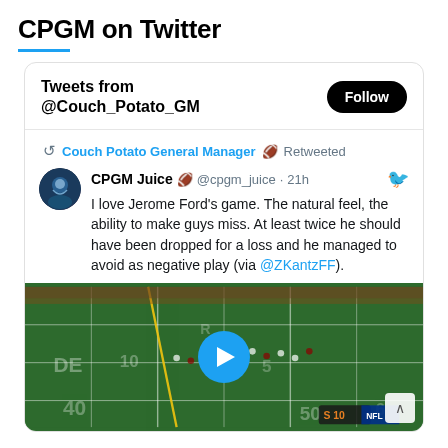CPGM on Twitter
[Figure (screenshot): Twitter widget showing tweets from @Couch_Potato_GM with a Follow button and a retweeted post from CPGM Juice (@cpgm_juice) about Jerome Ford's game, including a video thumbnail of a football game.]